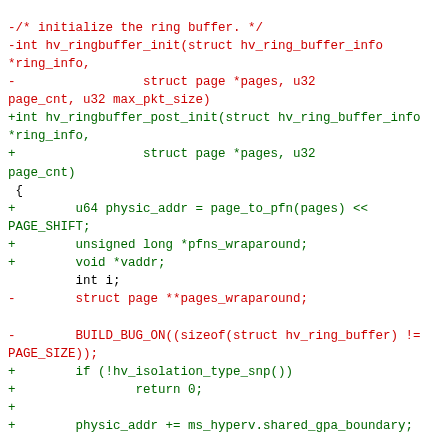Code diff showing changes to hv_ringbuffer_init and hv_ringbuffer_post_init functions with additions and removals of parameters and local variables.